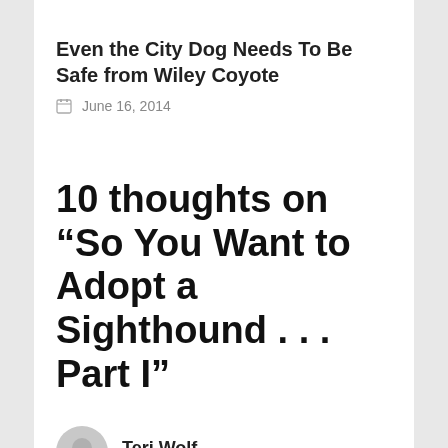Even the City Dog Needs To Be Safe from Wiley Coyote
June 16, 2014
10 thoughts on “So You Want to Adopt a Sighthound . . . Part I”
Teri Wolf
says:
November 12, 2013 at 11:23 am
We adopted our first greyhound many years ago